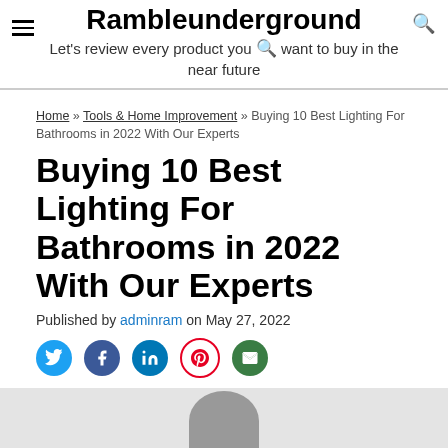Rambleunderground
Let's review every product you want to buy in the near future
Home » Tools & Home Improvement » Buying 10 Best Lighting For Bathrooms in 2022 With Our Experts
Buying 10 Best Lighting For Bathrooms in 2022 With Our Experts
Published by adminram on May 27, 2022
[Figure (other): Social media share icons: Twitter, Facebook, LinkedIn, Pinterest, Email]
[Figure (photo): Partial image of a bathroom lighting product, dark round fixture visible at bottom center]